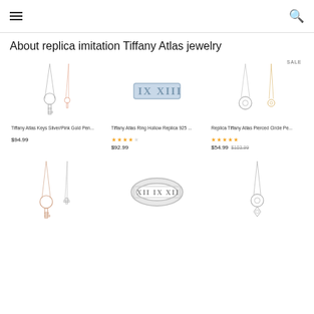Navigation header with hamburger menu and search icon
About replica imitation Tiffany Atlas jewelry
[Figure (photo): Tiffany Atlas Keys Silver/Pink Gold Pendant necklace product image]
Tiffany Atlas Keys Silver/Pink Gold Pen...
$94.99
[Figure (photo): Tiffany Atlas Ring Hollow Replica 925 product image]
Tiffany Atlas Ring Hollow Replica 925 ...
$92.99
[Figure (photo): Replica Tiffany Atlas Pierced Circle Pendant necklace product image with SALE badge]
Replica Tiffany Atlas Pierced Circle Pe...
$54.99  $103.99
[Figure (photo): Tiffany Atlas key pendant necklace bottom row left]
[Figure (photo): Tiffany Atlas ring bottom row center]
[Figure (photo): Tiffany Atlas pendant necklace bottom row right]